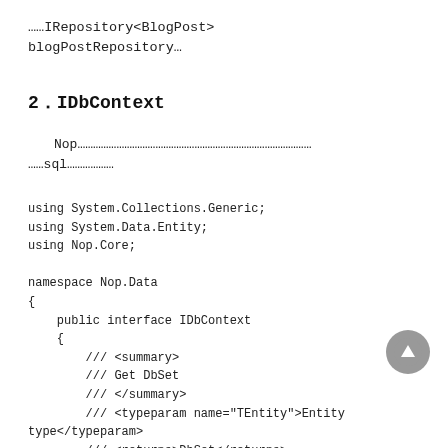……IRepository<BlogPost> blogPostRepository…
2．IDbContext
Nop…………………………………………………………………………………………sql…………
using System.Collections.Generic;
using System.Data.Entity;
using Nop.Core;

namespace Nop.Data
{
    public interface IDbContext
    {
        /// <summary>
        /// Get DbSet
        /// </summary>
        /// <typeparam name="TEntity">Entity type</typeparam>
        /// <returns>DbSet</returns>
        IDbSet<TEntity> Set<TEntity>() where TEnt…